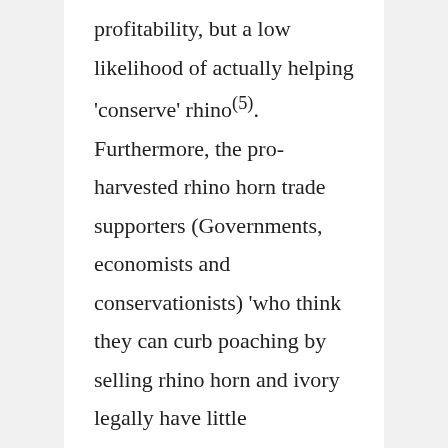profitability, but a low likelihood of actually helping 'conserve' rhino(5). Furthermore, the pro-harvested rhino horn trade supporters (Governments, economists and conservationists) 'who think they can curb poaching by selling rhino horn and ivory legally have little